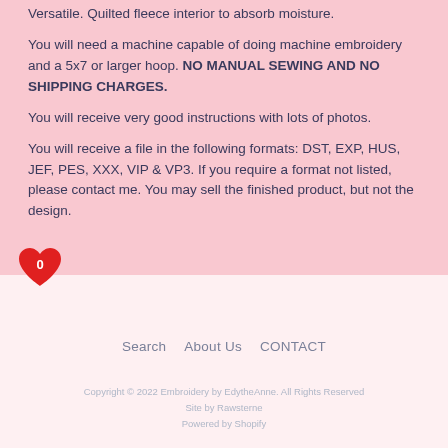Versatile. Quilted fleece interior to absorb moisture.

You will need a machine capable of doing machine embroidery and a 5x7 or larger hoop. NO MANUAL SEWING AND NO SHIPPING CHARGES.

You will receive very good instructions with lots of photos.

You will receive a file in the following formats: DST, EXP, HUS, JEF, PES, XXX, VIP & VP3. If you require a format not listed, please contact me. You may sell the finished product, but not the design.
[Figure (illustration): Red heart badge with the number 0 inside, positioned at the lower left of the pink section]
Search   About Us   CONTACT

Copyright © 2022 Embroidery by EdytheAnne. All Rights Reserved
Site by Rawsterne
Powered by Shopify